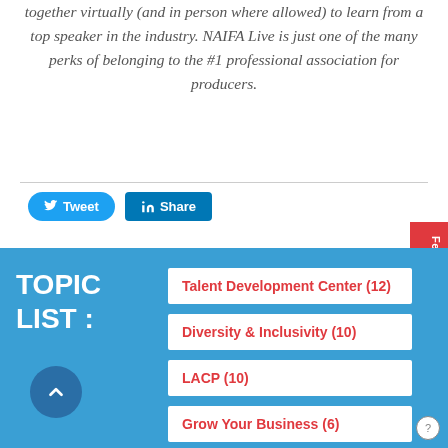together virtually (and in person where allowed) to learn from a top speaker in the industry. NAIFA Live is just one of the many perks of belonging to the #1 professional association for producers.
[Figure (other): Social sharing buttons: Tweet (Twitter) and Share (LinkedIn)]
TOPIC LIST :
Talent Development Center (12)
Diversity & Inclusivity (10)
LACP (10)
Grow Your Business (6)